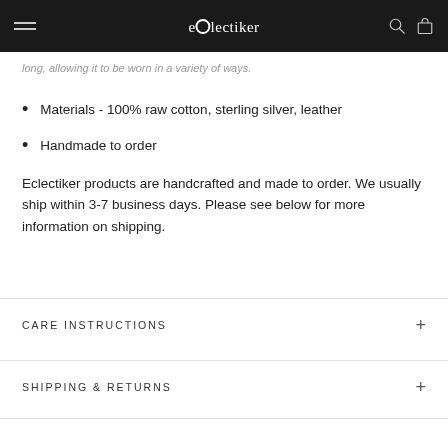eclectiker — navigation bar
long, allowing it to be worn in a variety of ways.
Materials - 100% raw cotton, sterling silver, leather
Handmade to order
Eclectiker products are handcrafted and made to order. We usually ship within 3-7 business days. Please see below for more information on shipping.
CARE INSTRUCTIONS
SHIPPING & RETURNS